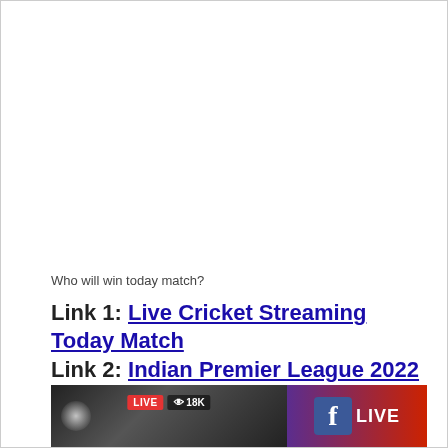Who will win today match?
Link 1: Live Cricket Streaming Today Match
Link 2: Indian Premier League 2022 Live match
Link 3: Live Cricket Match Today
[Figure (screenshot): Live cricket streaming thumbnail showing LIVE badge with 18K viewers count and Facebook LIVE logo on red/purple background]